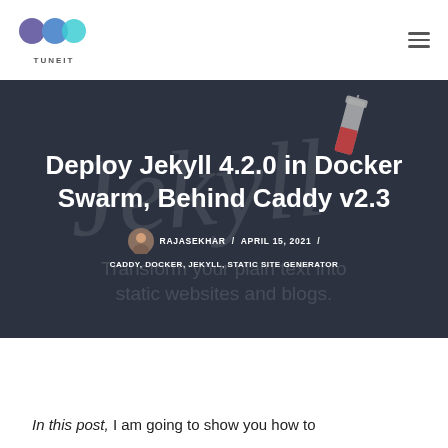TUNEIT
Deploy Jekyll 4.2.0 in Docker Swarm, Behind Caddy v2.3
RAJASEKHAR / APRIL 15, 2021 / CADDY, DOCKER, JEKYLL, STATIC SITE GENERATOR
In this post, I am going to show you how to